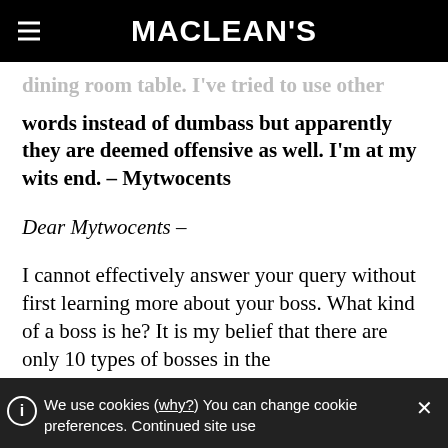MACLEAN'S
dining room table. I've tried to use other words instead of dumbass but apparently they are deemed offensive as well. I'm at my wits end. – Mytwocents
Dear Mytwocents –
I cannot effectively answer your query without first learning more about your boss. What kind of a boss is he? It is my belief that there are only 10 types of bosses in the
We use cookies (why?) You can change cookie preferences. Continued site use